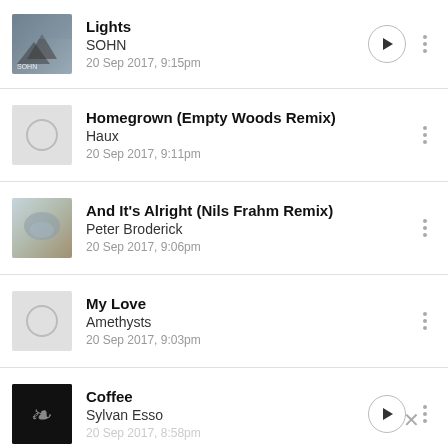Lights — SOHN — 20 Sep 2017, 9:15pm
Homegrown (Empty Woods Remix) — Haux — 20 Sep 2017, 9:11pm
And It's Alright (Nils Frahm Remix) — Peter Broderick — 20 Sep 2017, 9:06pm
My Love — Amethysts — 20 Sep 2017, 9:03pm
Coffee — Sylvan Esso — 20 Sep 2017, 8:58pm